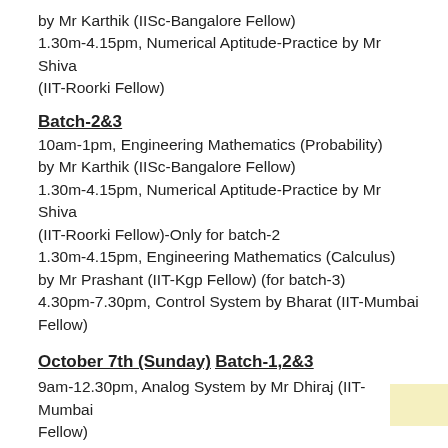by Mr Karthik (IISc-Bangalore Fellow)
1.30m-4.15pm, Numerical Aptitude-Practice by Mr Shiva (IIT-Roorki Fellow)
Batch-2&3
10am-1pm, Engineering Mathematics (Probability) by Mr Karthik (IISc-Bangalore Fellow)
1.30m-4.15pm, Numerical Aptitude-Practice by Mr Shiva (IIT-Roorki Fellow)-Only for batch-2
1.30m-4.15pm, Engineering Mathematics (Calculus) by Mr Prashant (IIT-Kgp Fellow) (for batch-3)
4.30pm-7.30pm, Control System by Bharat (IIT-Mumbai Fellow)
October 7th (Sunday)
Batch-1,2&3
9am-12.30pm, Analog System by Mr Dhiraj (IIT-Mumbai Fellow)
1.30pm-5.30pm, Communication by Mr Mukesh (IIT-Kgp Fellow)